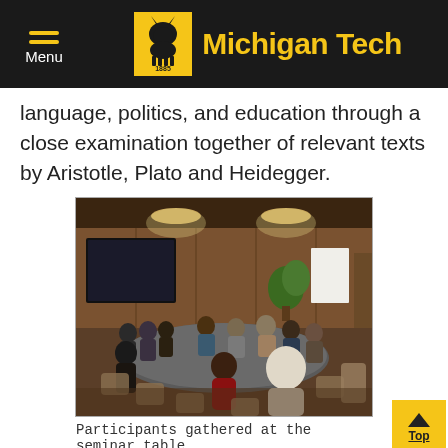Michigan Tech — Menu
language, politics, and education through a close examination together of relevant texts by Aristotle, Plato and Heidegger.
[Figure (photo): Group of participants seated around a seminar/conference table in a wood-paneled room with overhead lights and a TV screen at the back.]
Participants gathered at the seminar table
As RTC Graduate Student Vincent Manzie commented: